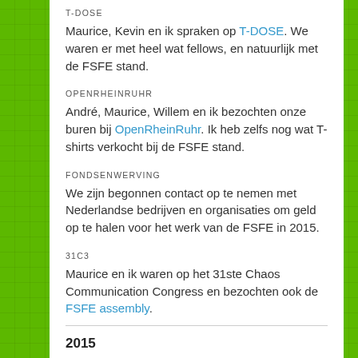T-DOSE
Maurice, Kevin en ik spraken op T-DOSE. We waren er met heel wat fellows, en natuurlijk met de FSFE stand.
OPENRHEINRUHR
André, Maurice, Willem en ik bezochten onze buren bij OpenRheinRuhr. Ik heb zelfs nog wat T-shirts verkocht bij de FSFE stand.
FONDSENWERVING
We zijn begonnen contact op te nemen met Nederlandse bedrijven en organisaties om geld op te halen voor het werk van de FSFE in 2015.
31C3
Maurice en ik waren op het 31ste Chaos Communication Congress en bezochten ook de FSFE assembly.
2015